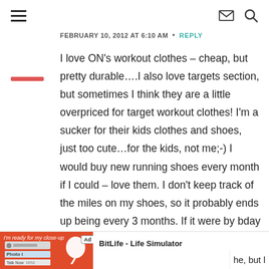navigation header with hamburger menu, envelope icon, and search icon
FEBRUARY 10, 2012 AT 6:10 AM • REPLY
I love ON's workout clothes – cheap, but pretty durable….I also love targets section, but sometimes I think they are a little overpriced for target workout clothes! I'm a sucker for their kids clothes and shoes, just too cute…for the kids, not me;-) I would buy new running shoes every month if I could – love them. I don't keep track of the miles on my shoes, so it probably ends up being every 3 months. If it were by bday today, I would ask for Lululemon anything or some sort of tablet, like an ipad or something. have a
[Figure (screenshot): Advertisement bar at bottom: BitLife - Life Simulator ad with red background image and Install button, partial text 'he, but l' visible on right]